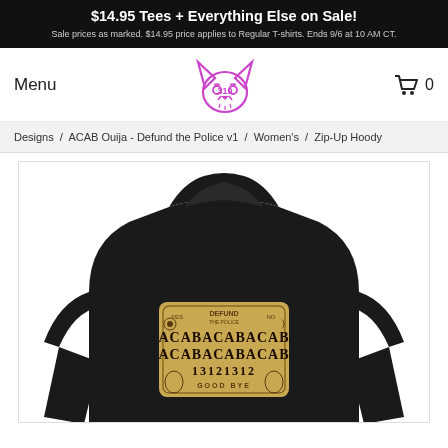$14.95 Tees + Everything Else on Sale! Sale prices as marked. $14.95 price applies to Regular T-shirts. Ends 9/6 at 10 AM CT.
[Figure (logo): 319 wolf/fox head logo in purple outline style]
Menu
0
Designs / ACAB Ouija - Defund the Police v1 / Women's / Zip-Up Hoody
[Figure (photo): Back view of a black zip-up hoodie with an Ouija board style graphic on the back reading ACABACABACAB ACABACABACAB 13121312 GOOD BYE with DEFUND at the top, on a tan/beige board design]